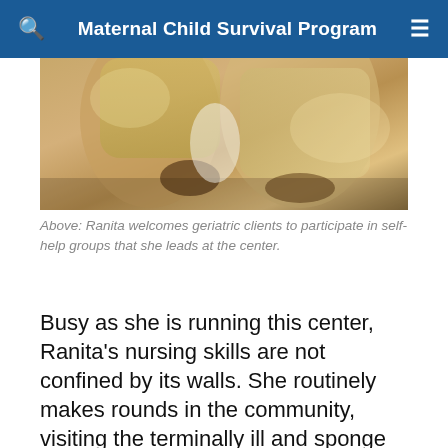Maternal Child Survival Program
[Figure (photo): Close-up photo of people at a health center, showing hands and traditional clothing in warm tones]
Above: Ranita welcomes geriatric clients to participate in self-help groups that she leads at the center.
Busy as she is running this center, Ranita's nursing skills are not confined by its walls. She routinely makes rounds in the community, visiting the terminally ill and sponge bathing the elderly in their homes. She invites those who are still mobile to participate in geriatric self-help groups, during which she offers...